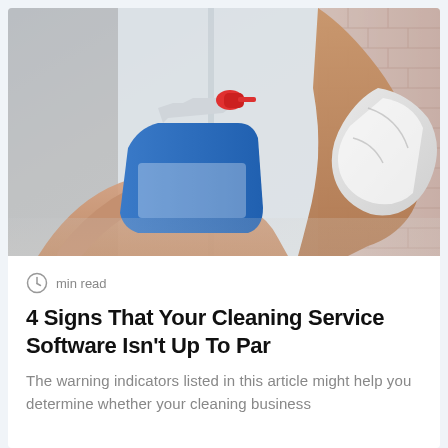[Figure (photo): A person's hands cleaning a window — one hand holding a blue spray bottle with a red nozzle, the other hand holding a white cloth pressed against the glass. A blurred brick wall is visible in the background.]
min read
4 Signs That Your Cleaning Service Software Isn't Up To Par
The warning indicators listed in this article might help you determine whether your cleaning business